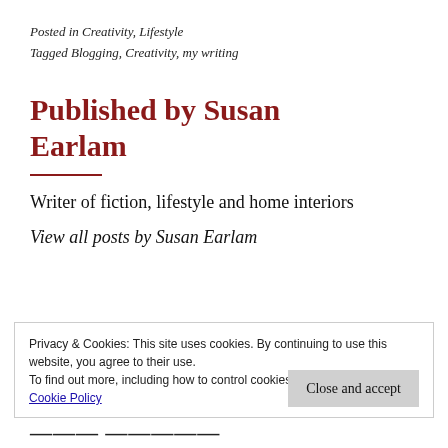Posted in Creativity, Lifestyle
Tagged Blogging, Creativity, my writing
Published by Susan Earlam
Writer of fiction, lifestyle and home interiors
View all posts by Susan Earlam
Privacy & Cookies: This site uses cookies. By continuing to use this website, you agree to their use.
To find out more, including how to control cookies, see here: Cookie Policy
Close and accept